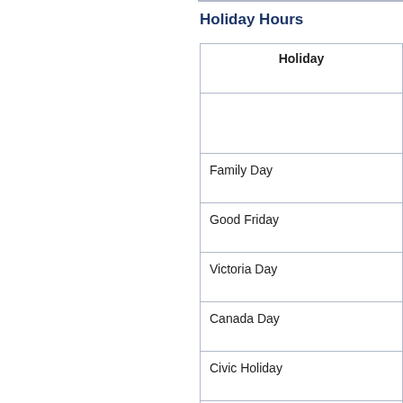Holiday Hours
| Holiday |
| --- |
|  |
| Family Day |
| Good Friday |
| Victoria Day |
| Canada Day |
| Civic Holiday |
| Labour Day |
| National Day for Truth and Reconciliation |
| Thanksgiving |